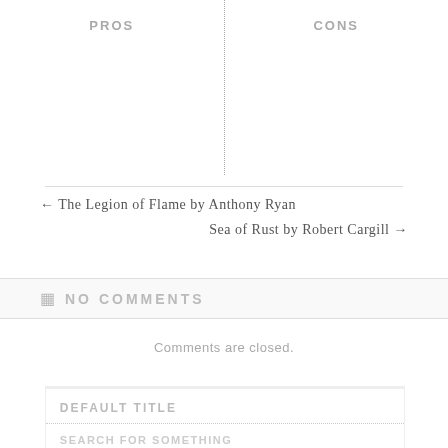PROS
CONS
← The Legion of Flame by Anthony Ryan
Sea of Rust by Robert Cargill →
NO COMMENTS
Comments are closed.
DEFAULT TITLE
SEARCH FOR SOMETHING